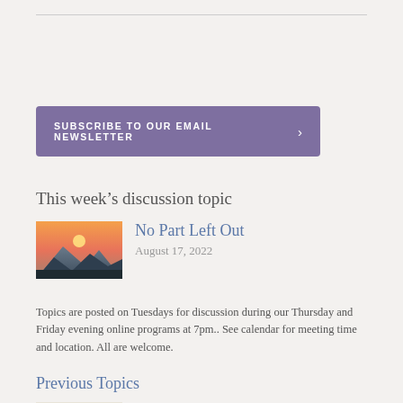[Figure (other): Purple rounded-rectangle button with text SUBSCRIBE TO OUR EMAIL NEWSLETTER and a right chevron]
This week’s discussion topic
[Figure (photo): Thumbnail photo of a mountain sunset landscape]
No Part Left Out
August 17, 2022
Topics are posted on Tuesdays for discussion during our Thursday and Friday evening online programs at 7pm.. See calendar for meeting time and location. All are welcome.
Previous Topics
[Figure (photo): Thumbnail image of a calligraphic interbeing circle logo]
The Eyes of Interbeing
August 10, 2022